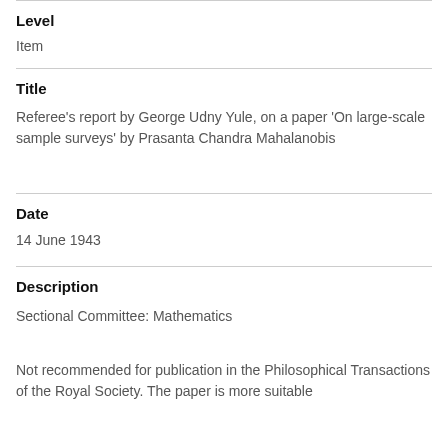Level
Item
Title
Referee's report by George Udny Yule, on a paper 'On large-scale sample surveys' by Prasanta Chandra Mahalanobis
Date
14 June 1943
Description
Sectional Committee: Mathematics
Not recommended for publication in the Philosophical Transactions of the Royal Society. The paper is more suitable